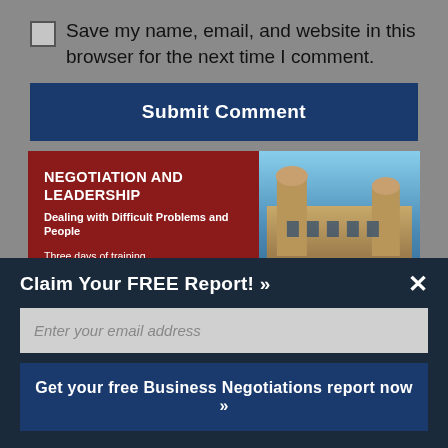Save my name, email, and website in this browser for the next time I comment.
Submit Comment
[Figure (illustration): Advertisement banner for 'Negotiation and Leadership' program at Harvard Program on Negotiation. Red left panel with white text: 'NEGOTIATION AND LEADERSHIP', 'Dealing with Difficult Problems and People', 'Three days of training. A lifetime of better negotiation outcomes.', 'May | June | July | September | October | December'. Right panel shows a photo of a historic building. Footer shows 'Learn More »' and Program on Negotiation logo.]
Claim Your FREE Report! »
Enter your email address
Get your free Business Negotiations report now »